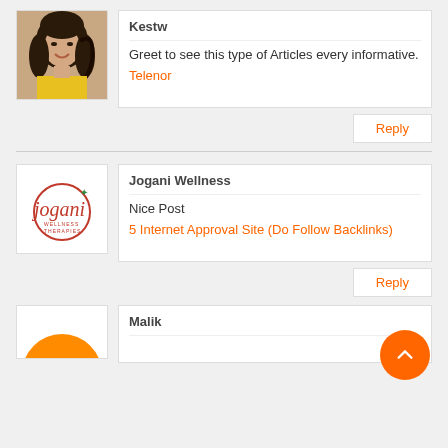[Figure (photo): Profile photo of a young woman with dark curly hair, smiling, wearing yellow top]
Kestw
Greet to see this type of Articles every informative.
Telenor
Reply
[Figure (logo): Jogani Wellness Therapies logo — red circular text with green leaf accent]
Jogani Wellness
Nice Post
5 Internet Approval Site (Do Follow Backlinks)
Reply
[Figure (photo): Orange circular avatar, partially visible at bottom]
Malik